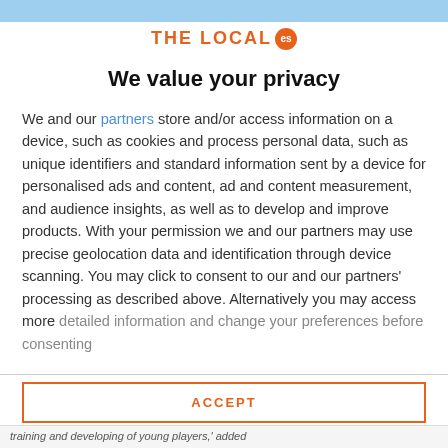[Figure (logo): THE LOCAL es logo with orange text and orange circular badge with 'es']
We value your privacy
We and our partners store and/or access information on a device, such as cookies and process personal data, such as unique identifiers and standard information sent by a device for personalised ads and content, ad and content measurement, and audience insights, as well as to develop and improve products. With your permission we and our partners may use precise geolocation data and identification through device scanning. You may click to consent to our and our partners' processing as described above. Alternatively you may access more detailed information and change your preferences before consenting
ACCEPT
MORE OPTIONS
training and developing of young players,' added